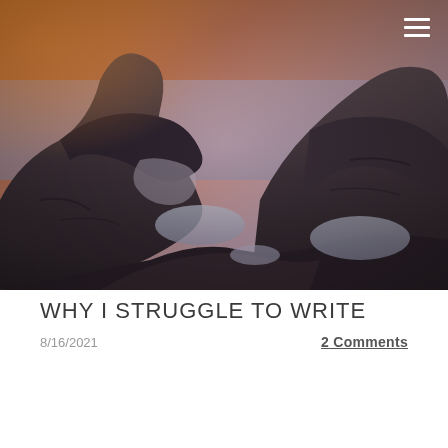[Figure (photo): Dramatic coastal rock formation with natural rock arch and tide pools, shot at sunset with warm orange and muted purple tones. Rocky sea cliffs with still water reflections in the pools below.]
WHY I STRUGGLE TO WRITE
8/16/2021
2 Comments